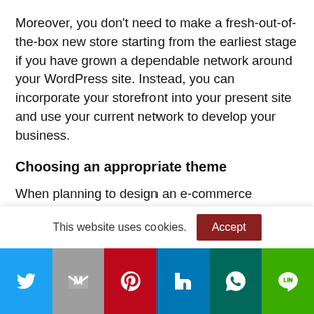Moreover, you don't need to make a fresh-out-of-the-box new store starting from the earliest stage if you have grown a dependable network around your WordPress site. Instead, you can incorporate your storefront into your present site and use your current network to develop your business.
Choosing an appropriate theme
When planning to design an e-commerce website, you need to select a significant theme based on
This website uses cookies.
[Figure (infographic): Social share buttons bar: Twitter (blue), Gmail (grey), Pinterest (red), LinkedIn (blue), WhatsApp (teal), LINE (green)]